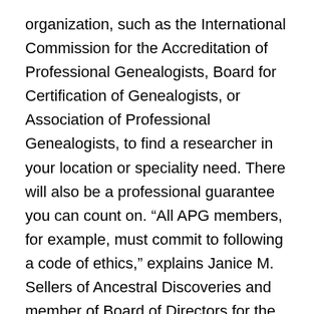organization, such as the International Commission for the Accreditation of Professional Genealogists, Board for Certification of Genealogists, or Association of Professional Genealogists, to find a researcher in your location or speciality need. There will also be a professional guarantee you can count on. “All APG members, for example, must commit to following a code of ethics,” explains Janice M. Sellers of Ancestral Discoveries and member of Board of Directors for the African American Genealogical Society of Northern California. “If something goes wrong in the working relationship, there’s a grievance procedure.”
“Another option is to just Google. You can come across the website of a researcher who specializes...